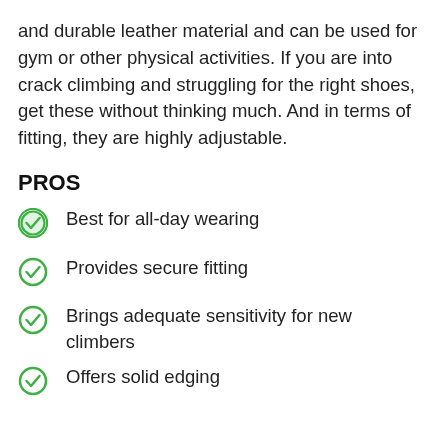and durable leather material and can be used for gym or other physical activities. If you are into crack climbing and struggling for the right shoes, get these without thinking much. And in terms of fitting, they are highly adjustable.
PROS
Best for all-day wearing
Provides secure fitting
Brings adequate sensitivity for new climbers
Offers solid edging